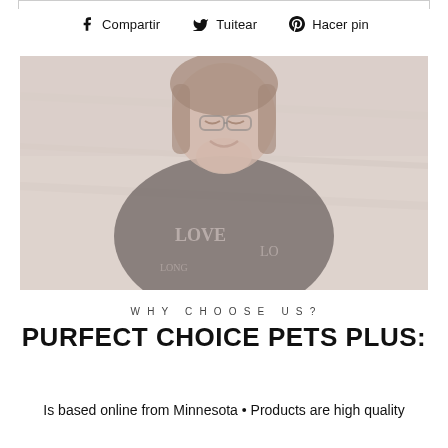[Figure (photo): Photo of a smiling woman with glasses wearing a dark patterned shirt with letters/text design, lying or sitting on a wooden surface. Image has a faded/washed out appearance.]
WHY CHOOSE US?
PURFECT CHOICE PETS PLUS:
Is based online from Minnesota • Products are high quality